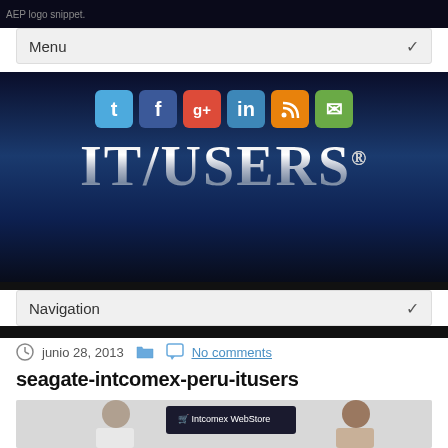AMP logo snippet.
Menu ✓
[Figure (screenshot): IT/USERS website hero banner with social media icons (Twitter, Facebook, Google+, LinkedIn, RSS, Email) and large metallic IT/USERS logo on dark blue starfield background]
Navigation ✓
junio 28, 2013   No comments
seagate-intcomex-peru-itusers
[Figure (photo): Photo of two people standing in front of an Intcomex WebStore banner]